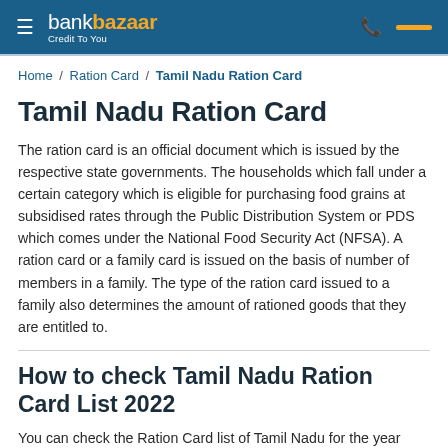bankbazaar Credit To You
Home / Ration Card / Tamil Nadu Ration Card
Tamil Nadu Ration Card
The ration card is an official document which is issued by the respective state governments. The households which fall under a certain category which is eligible for purchasing food grains at subsidised rates through the Public Distribution System or PDS which comes under the National Food Security Act (NFSA). A ration card or a family card is issued on the basis of number of members in a family. The type of the ration card issued to a family also determines the amount of rationed goods that they are entitled to.
How to check Tamil Nadu Ration Card List 2022
You can check the Ration Card list of Tamil Nadu for the year 2022, by following the instructions mentioned below: